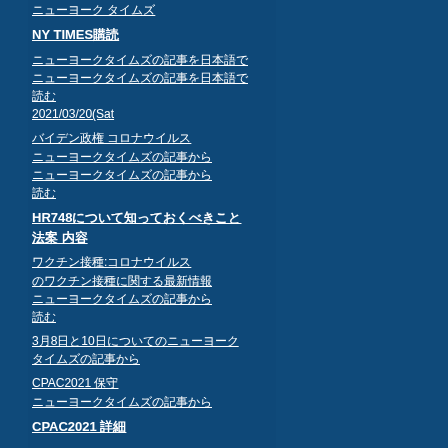ニューヨーク タイムズ
NY TIMES購読
ニューヨークタイムズの記事を日本語で
2021/03/20(Sat
バイデン政権 コロナウイルスニューヨークタイムズの記事から
HR748について知っておくべきこと 法案 内容
ワクチン接種:コロナウイルスのワクチン接種に関する最新情報
3月8日と10日についてのニューヨークタイムズの記事から
CPAC2021 保守 ニューヨークタイムズの記事から
CPAC2021 詳細